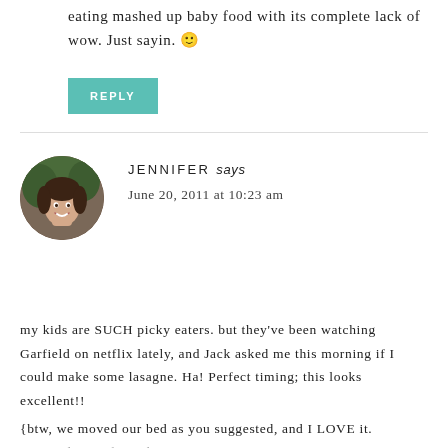eating mashed up baby food with its complete lack of wow. Just sayin. 🙂
REPLY
JENNIFER says
June 20, 2011 at 10:23 am
my kids are SUCH picky eaters. but they've been watching Garfield on netflix lately, and Jack asked me this morning if I could make some lasagne. Ha! Perfect timing; this looks excellent!!
{btw, we moved our bed as you suggested, and I LOVE it. Love it love it.} woohoo!